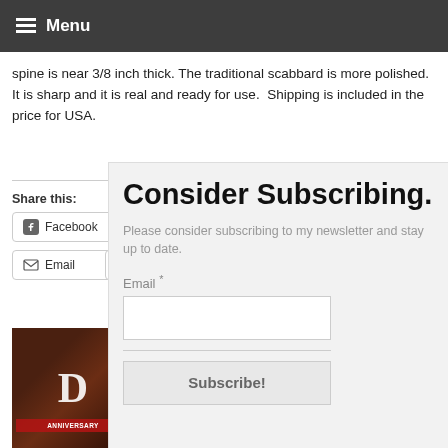Menu
spine is near 3/8 inch thick. The traditional scabbard is more polished.  It is sharp and it is real and ready for use.  Shipping is included in the price for USA.
Share this:
Facebook
Email
Print
[Figure (photo): Photo of a sign or poster with red triangle design and text, dark wood background]
Consider Subscribing.
Please consider subscribing to my newsletter and stay up to date.
Email *
Subscribe!